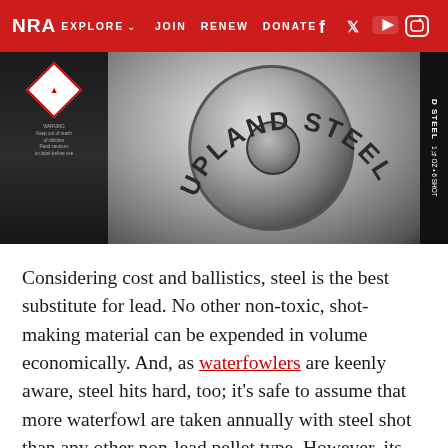NRA EXPLORE ▾  JOIN  RENEW  DONATE  f  🐦  ▶  🔲
[Figure (photo): Box of Upland Steel shotgun shells showing the circular base of a 12-gauge shell with 'UPLAND STEEL' text embossed. The box is black with warning diamond label on the left side, and the side panel shows 'D STEEL 6 SHOT' text.]
Considering cost and ballistics, steel is the best substitute for lead. No other non-toxic, shot-making material can be expended in volume economically. And, as waterfowlers are keenly aware, steel hits hard, too; it's safe to assume that more waterfowl are taken annually with steel shot than any other non-lead pellet type. However, its low density—7.8 grams/cc—requires that it be propelled to high velocities to carry lethal energy and penetration downrange. This is well understood, thanks to earlier